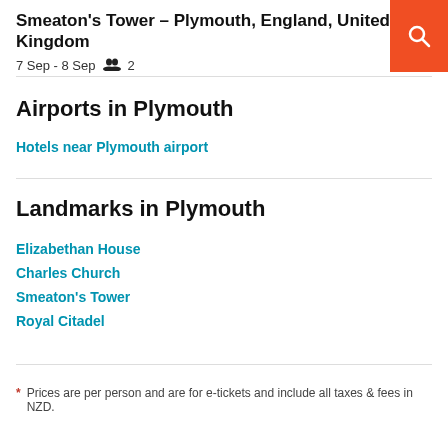Smeaton's Tower – Plymouth, England, United Kingdom
7 Sep - 8 Sep  2
Airports in Plymouth
Hotels near Plymouth airport
Landmarks in Plymouth
Elizabethan House
Charles Church
Smeaton's Tower
Royal Citadel
* Prices are per person and are for e-tickets and include all taxes & fees in NZD.